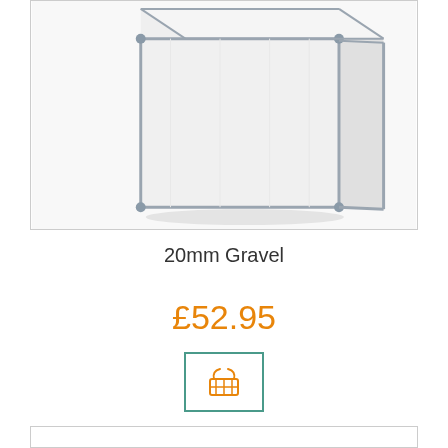[Figure (photo): Large white bulk bag (FIBC/jumbo bag) with grey reinforced seams and corners, shown upright against a white background]
20mm Gravel
£52.95
[Figure (other): Add to cart button with shopping basket icon in orange, inside a teal-bordered square button]